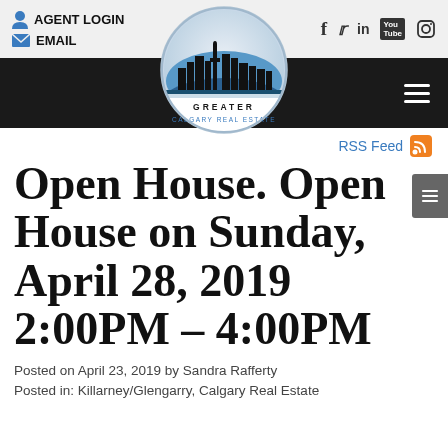AGENT LOGIN  EMAIL  [social icons: f, twitter, in, YouTube, Instagram]
[Figure (logo): Greater Calgary Real Estate circular logo with city skyline silhouette and blue gradient background]
RSS Feed
Open House. Open House on Sunday, April 28, 2019 2:00PM - 4:00PM
Posted on April 23, 2019 by Sandra Rafferty
Posted in: Killarney/Glengarry, Calgary Real Estate